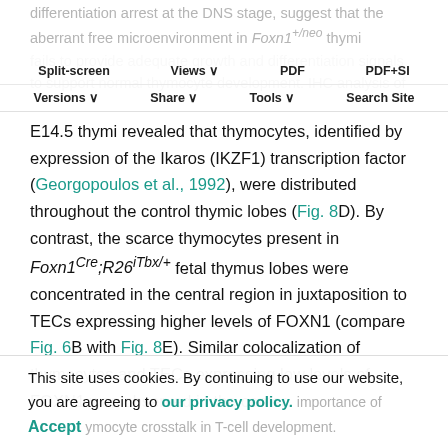Split-screen  Views  PDF  PDF+SI  Versions  Share  Tools  Search Site
differentiation arrest at the DNS stage, suggest that the aberrant free microenvironment in Foxn1+/neo thymi fails to provide adequate growth and differentiation signals to support normal thymocyte development. IHC analysis of
E14.5 thymi revealed that thymocytes, identified by expression of the Ikaros (IKZF1) transcription factor (Georgopoulos et al., 1992), were distributed throughout the control thymic lobes (Fig. 8D). By contrast, the scarce thymocytes present in Foxn1Cre;R26iTbx/+ fetal thymus lobes were concentrated in the central region in juxtaposition to TECs expressing higher levels of FOXN1 (compare Fig. 6B with Fig. 8E). Similar colocalization of thymocytes and TECs expressing low levels of FOXN1 was observed in the center
This site uses cookies. By continuing to use our website, you are agreeing to our privacy policy.
Accept
thymocyte crosstalk in T-cell development.